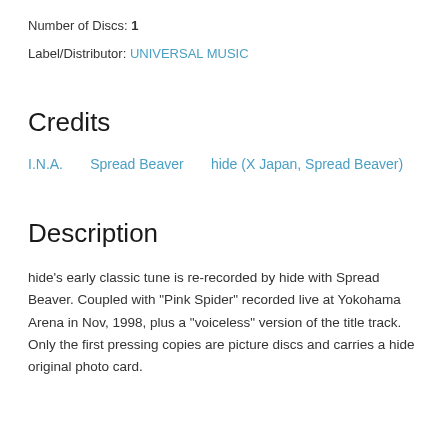Number of Discs: 1
Label/Distributor: UNIVERSAL MUSIC
Credits
I.N.A.    Spread Beaver    hide (X Japan, Spread Beaver)
Description
hide's early classic tune is re-recorded by hide with Spread Beaver. Coupled with "Pink Spider" recorded live at Yokohama Arena in Nov, 1998, plus a "voiceless" version of the title track. Only the first pressing copies are picture discs and carries a hide original photo card.